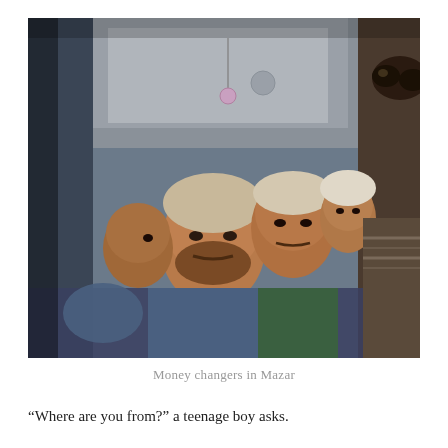[Figure (photo): Close-up photograph of multiple men crowded together inside a vehicle, viewed through a car window. Several men of Middle Eastern appearance look toward the camera. One man in the foreground wears a denim jacket. Another person on the right side wears sunglasses. The interior of the car with grey upholstery is visible, along with a small decorative charm hanging from the rearview mirror.]
Money changers in Mazar
“Where are you from?” a teenage boy asks.